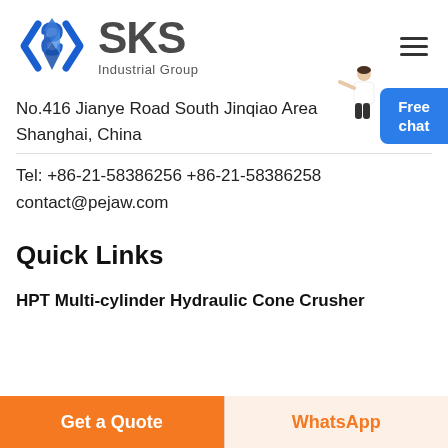[Figure (logo): SKS Industrial Group logo with blue diamond/arrow icon and gray SKS text with 'Industrial Group' subtitle]
No.416 Jianye Road South Jinqiao Area Shanghai, China
Tel: +86-21-58386256 +86-21-58386258
contact@pejaw.com
Quick Links
HPT Multi-cylinder Hydraulic Cone Crusher
Get a Quote
WhatsApp